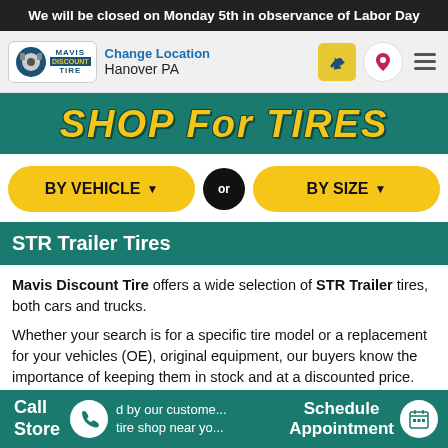We will be closed on Monday 5th in observance of Labor Day
[Figure (screenshot): Mavis Discount Tire navigation bar with logo, Change Location / Hanover PA text, turn arrow icon, location pin icon, and hamburger menu]
[Figure (screenshot): SHOP FOR TIRES banner in yellow italic text on teal background]
[Figure (screenshot): BY VEHICLE and BY SIZE yellow pill buttons with OR circle between them]
STR Trailer Tires
Mavis Discount Tire offers a wide selection of STR Trailer tires, both cars and trucks.
Whether your search is for a specific tire model or a replacement for your vehicles (OE), original equipment, our buyers know the importance of keeping them in stock and at a discounted price. We are staffed with professionals who will help guide you to the best choice to fit your needs. Please browse the models and read the
Call Store  [phone icon]  d by our custome... tire shop near yo...  Schedule Appointment  [calendar icon]